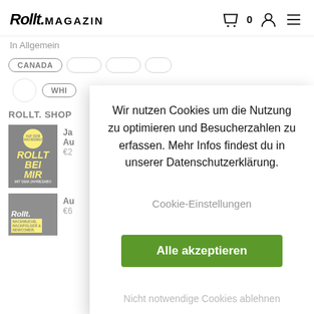Rollt.MAGAZIN
In Allgemein
CANADA
WHI
ROLLT. SHOP
Ja Au €2
Au €6
Wir nutzen Cookies um die Nutzung zu optimieren und Besucherzahlen zu erfassen. Mehr Infos findest du in unserer Datenschutzerklärung.

Cookie-Einstellungen

Alle akzeptieren

Nicht notwendige Cookies ablehnen